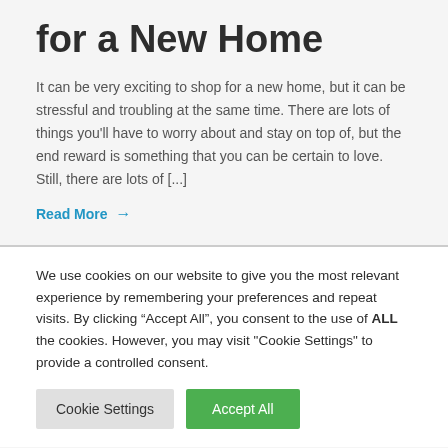for a New Home
It can be very exciting to shop for a new home, but it can be stressful and troubling at the same time. There are lots of things you’ll have to worry about and stay on top of, but the end reward is something that you can be certain to love. Still, there are lots of [...]
Read More →
We use cookies on our website to give you the most relevant experience by remembering your preferences and repeat visits. By clicking “Accept All”, you consent to the use of ALL the cookies. However, you may visit "Cookie Settings" to provide a controlled consent.
Cookie Settings | Accept All